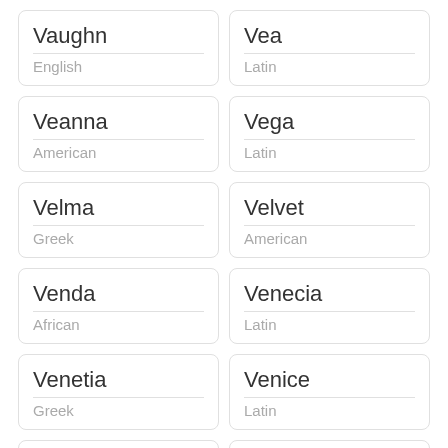Vaughn / English
Vea / Latin
Veanna / American
Vega / Latin
Velma / Greek
Velvet / American
Venda / African
Venecia / Latin
Venetia / Greek
Venice / Latin
Ventana
Ventura